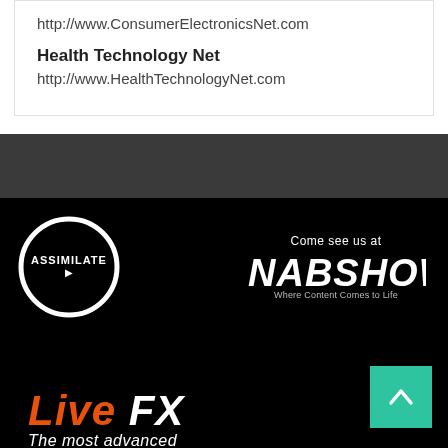http://www.ConsumerElectronicsNet.com
Health Technology Net
http://www.HealthTechnologyNet.com
[Figure (illustration): Assimilate logo (white circle with ASSIMILATE text and play arrow) on black background, with NAB Show logo and 'Come see us at' text on the right. Below: 'Live FX' text in orange and white, a teal scroll-to-top button, and 'The most advanced' text.]